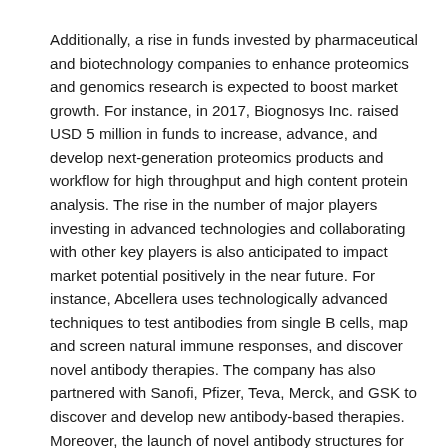Additionally, a rise in funds invested by pharmaceutical and biotechnology companies to enhance proteomics and genomics research is expected to boost market growth. For instance, in 2017, Biognosys Inc. raised USD 5 million in funds to increase, advance, and develop next-generation proteomics products and workflow for high throughput and high content protein analysis. The rise in the number of major players investing in advanced technologies and collaborating with other key players is also anticipated to impact market potential positively in the near future. For instance, Abcellera uses technologically advanced techniques to test antibodies from single B cells, map and screen natural immune responses, and discover novel antibody therapies. The company has also partnered with Sanofi, Pfizer, Teva, Merck, and GSK to discover and develop new antibody-based therapies. Moreover, the launch of novel antibody structures for the diagnosis of various diseases is also a major factor expected to boost market growth. For instance, in August 2018, BioGenex